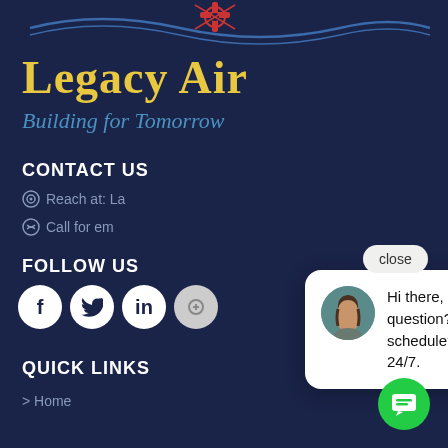[Figure (logo): Legacy Air logo with wave lines and cross/compass icon at top]
Legacy Air
Building for Tomorrow
CONTACT US
Reach at: La...
Call for em...
FOLLOW US
[Figure (infographic): Social media icons: Facebook, Twitter, LinkedIn, and one more]
QUICK LINKS
> Home
[Figure (infographic): Chat popup widget with close button, avatar photo of woman, and text: Hi there, have a question? Need to schedule? Text us here 24/7. Green chat button at bottom right.]
Hi there, have a question? Need to schedule? Text us here 24/7.